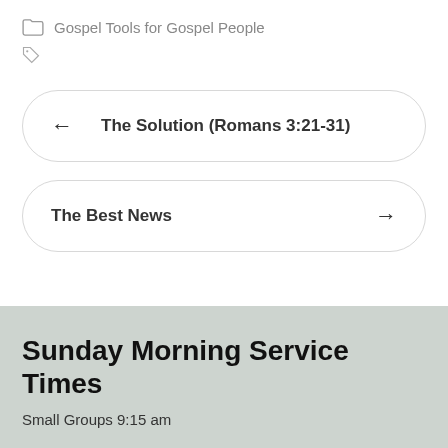Gospel Tools for Gospel People
← The Solution (Romans 3:21-31)
The Best News →
Sunday Morning Service Times
Small Groups 9:15 am